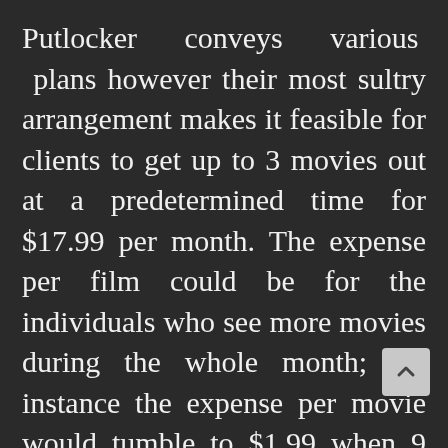Putlocker conveys various plans however their most sultry arrangement makes it feasible for clients to get up to 3 movies out at a predetermined time for $17.99 per month. The expense per film could be for the individuals who see more movies during the whole month; for instance the expense per movie would tumble to $1.99 when 9 movies were viewed during the whole month. Making the value of online film rental administrations more prominent is the enormous choice given; in case of all Putlocker, clients may pick from